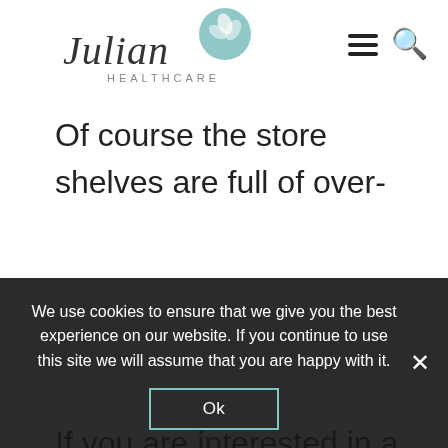Julian Healthcare — navigation header with logo, hamburger menu, and search icon
Of course the store shelves are full of over-the-counter antihistamines, decongestants, nasal sprays, and eye drops. There are several choices in the prescription drug arena as well. I prefer to have people try a plant-based approach. Often essential oils can help. Use 2 drops each of peppermint/lavender/lemon essential oils twice per day. These can be used on the bottoms of feet, or adults may take internally. If used on children dilute the oils in coconut oil. For more information on essential oils, follow Best In Your Life with Lisa (Lisa Herd with doTerra) on Facebook. They come in capsules, carry them in my office. If you are interested in a personalized plan to treat your
We use cookies to ensure that we give you the best experience on our website. If you continue to use this site we will assume that you are happy with it.